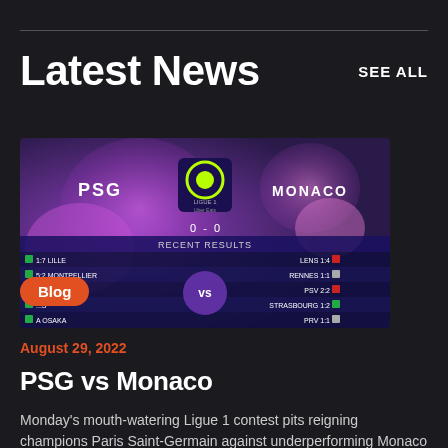Latest News
SEE ALL
[Figure (screenshot): Screenshot of PSG vs Monaco Ligue 1 match graphic showing recent results for both teams, with PSG on the left and Monaco on the right, on a purple background with a 'Blog' badge overlay.]
August 29, 2022
PSG vs Monaco
Monday's mouth-watering Ligue 1 contest pits reigning champions Paris Saint-Germain against underperforming Monaco at the Parc des Princes. New manager...